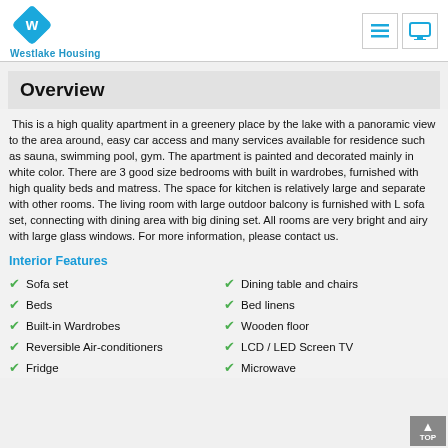Westlake Housing
Overview
This is a high quality apartment in a greenery place by the lake with a panoramic view to the area around, easy car access and many services available for residence such as sauna, swimming pool, gym. The apartment is painted and decorated mainly in white color. There are 3 good size bedrooms with built in wardrobes, furnished with high quality beds and matress. The space for kitchen is relatively large and separate with other rooms. The living room with large outdoor balcony is furnished with L sofa set, connecting with dining area with big dining set. All rooms are very bright and airy with large glass windows. For more information, please contact us.
Interior Features
Sofa set
Dining table and chairs
Beds
Bed linens
Built-in Wardrobes
Wooden floor
Reversible Air-conditioners
LCD / LED Screen TV
Fridge
Microwave